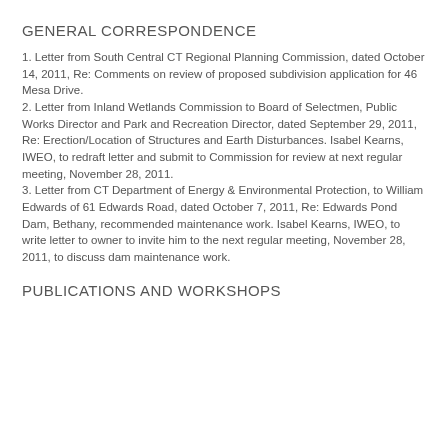GENERAL CORRESPONDENCE
1. Letter from South Central CT Regional Planning Commission, dated October 14, 2011, Re: Comments on review of proposed subdivision application for 46 Mesa Drive.
2. Letter from Inland Wetlands Commission to Board of Selectmen, Public Works Director and Park and Recreation Director, dated September 29, 2011, Re: Erection/Location of Structures and Earth Disturbances. Isabel Kearns, IWEO, to redraft letter and submit to Commission for review at next regular meeting, November 28, 2011.
3. Letter from CT Department of Energy & Environmental Protection, to William Edwards of 61 Edwards Road, dated October 7, 2011, Re: Edwards Pond Dam, Bethany, recommended maintenance work. Isabel Kearns, IWEO, to write letter to owner to invite him to the next regular meeting, November 28, 2011, to discuss dam maintenance work.
PUBLICATIONS AND WORKSHOPS